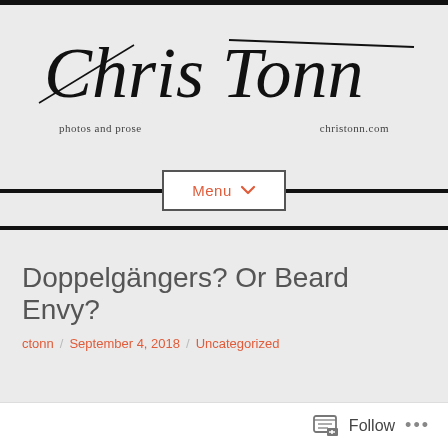Chris Tonn — photos and prose — christonn.com
Menu
Doppelgängers? Or Beard Envy?
ctonn / September 4, 2018 / Uncategorized
Follow ...